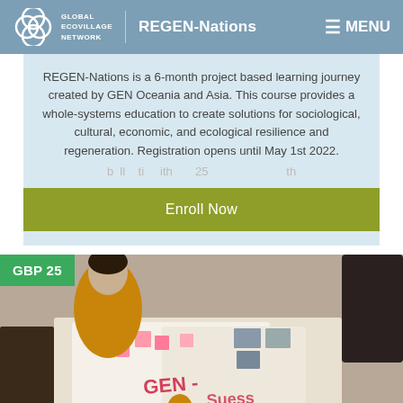GLOBAL ECOVILLAGE NETWORK | REGEN-Nations | MENU
REGEN-Nations is a 6-month project based learning journey created by GEN Oceania and Asia. This course provides a whole-systems education to create solutions for sociological, cultural, economic, and ecological resilience and regeneration. Registration opens until May 1st 2022.
Enroll Now
[Figure (photo): People sitting on the floor working on large printed maps and posters, collaborating on a GEN project. A price badge showing GBP 25 is overlaid in the top-left corner.]